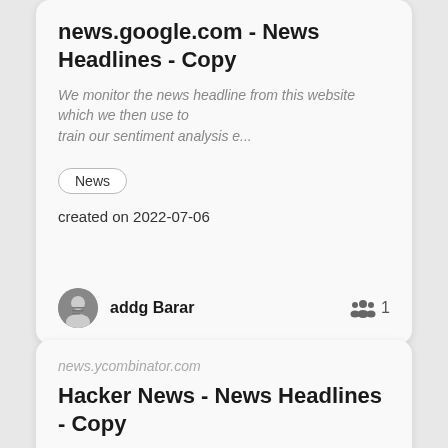news.google.com - News Headlines - Copy
We monitor the news headline from this website which we then use to train our sentiment analysis e...
News
created on 2022-07-06
addg Barar   1
news.ycombinator.com
Hacker News - News Headlines - Copy